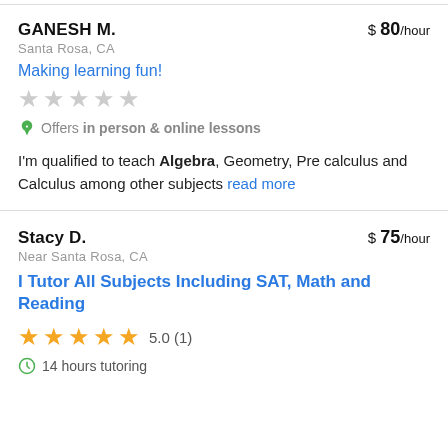GANESH M. — $80/hour — Santa Rosa, CA
Making learning fun!
★★★★★ (no rating)
Offers in person & online lessons
I'm qualified to teach Algebra, Geometry, Pre calculus and Calculus among other subjects read more
Stacy D. — $75/hour — Near Santa Rosa, CA
I Tutor All Subjects Including SAT, Math and Reading
★★★★★ 5.0 (1)
14 hours tutoring